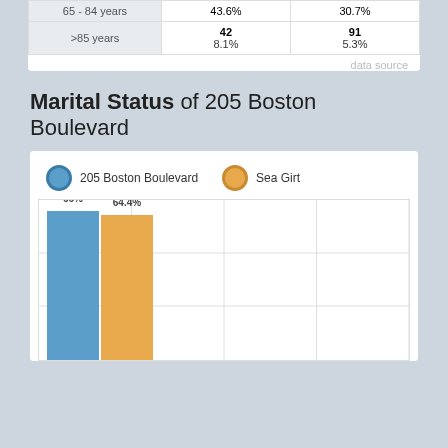| Age Group | 205 Boston Boulevard | Sea Girt |
| --- | --- | --- |
| 65 - 84 years | 43.6% | 30.7% |
| >85 years | 42
8.1% | 91
5.3% |
data source
Marital Status of 205 Boston Boulevard
[Figure (grouped-bar-chart): Marital Status of 205 Boston Boulevard]